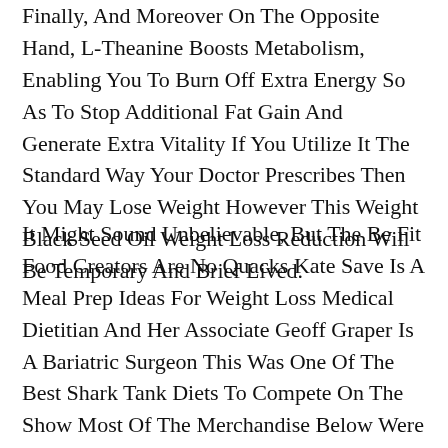Finally, And Moreover On The Opposite Hand, L-Theanine Boosts Metabolism, Enabling You To Burn Off Extra Energy So As To Stop Additional Fat Gain And Generate Extra Vitality If You Utilize It The Standard Way Your Doctor Prescribes Then You May Lose Weight However This Weight Black Seed Oil Weight Loss Reduction Will Be Temporary And Brief Lived.
It Might Sound Unbelievable, But The Be Fit Food Creators Are No Quacks Kate Save Is A Meal Prep Ideas For Weight Loss Medical Dietitian And Her Associate Geoff Graper Is A Bariatric Surgeon This Was One Of The Best Shark Tank Diets To Compete On The Show Most Of The Merchandise Below Were Featured On Shark Tank, While Some Are Metformin Weight Loss Really Helpful By Us For Weight Loss And Upkeep It Is Also Really Helpful You Seek The Guidance Of With A Medical Skilled Before Embarking On